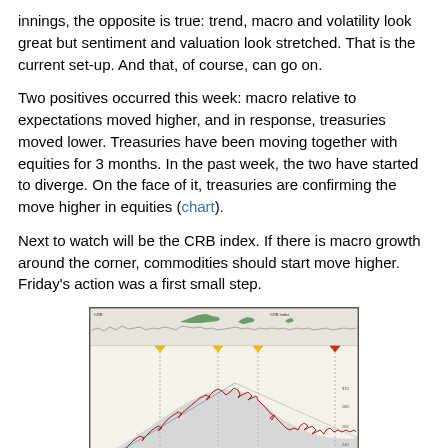innings, the opposite is true: trend, macro and volatility look great but sentiment and valuation look stretched. That is the current set-up. And that, of course, can go on.
Two positives occurred this week: macro relative to expectations moved higher, and in response, treasuries moved lower. Treasuries have been moving together with equities for 3 months. In the past week, the two have started to diverge. On the face of it, treasuries are confirming the move higher in equities (chart).
Next to watch will be the CRB index. If there is macro growth around the corner, commodities should start move higher. Friday's action was a first small step.
[Figure (continuous-plot): Financial chart showing price/indicator data over time with candlestick or line data in red and grey shaded bands, yellow downward-pointing triangle markers along a horizontal reference line at top, green shaded areas, and grey trend lines. The chart appears to show a market index or commodity price with Bollinger bands or similar envelope, with the price declining from a peak in the middle of the chart.]